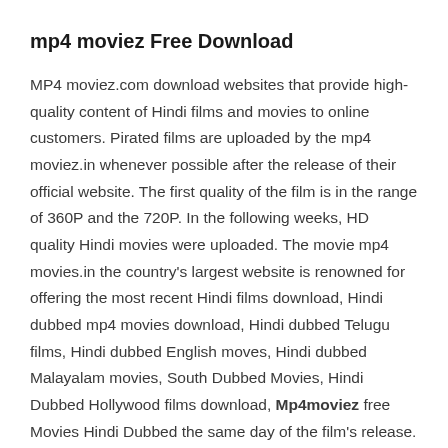mp4 moviez Free Download
MP4 moviez.com download websites that provide high-quality content of Hindi films and movies to online customers. Pirated films are uploaded by the mp4 moviez.in whenever possible after the release of their official website. The first quality of the film is in the range of 360P and the 720P. In the following weeks, HD quality Hindi movies were uploaded. The movie mp4 movies.in the country's largest website is renowned for offering the most recent Hindi films download, Hindi dubbed mp4 movies download, Hindi dubbed Telugu films, Hindi dubbed English moves, Hindi dubbed Malayalam movies, South Dubbed Movies, Hindi Dubbed Hollywood films download, Mp4moviez free Movies Hindi Dubbed the same day of the film's release.